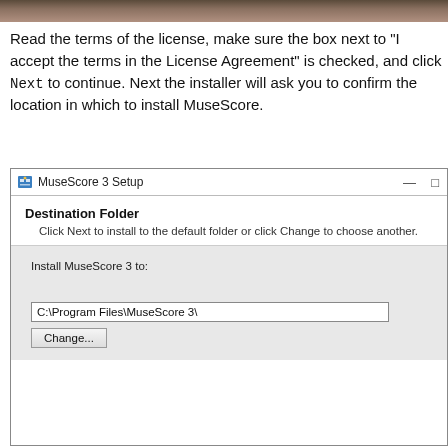[Figure (screenshot): Top decorative image strip showing a blurred photo background]
Read the terms of the license, make sure the box next to "I accept the terms in the License Agreement" is checked, and click Next to continue. Next the installer will ask you to confirm the location in which to install MuseScore.
[Figure (screenshot): MuseScore 3 Setup dialog showing Destination Folder screen with path C:\Program Files\MuseScore 3\ and a Change... button]